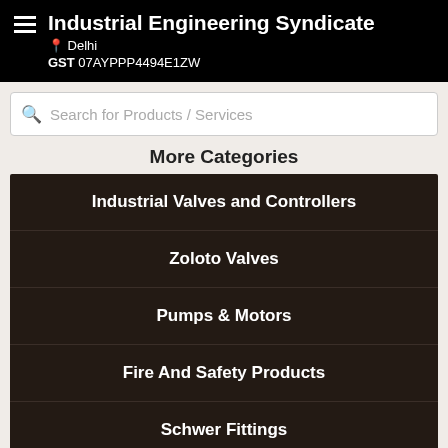Industrial Engineering Syndicate
Delhi
GST 07AYPPP4494E1ZW
Search for Products / Services
More Categories
Industrial Valves and Controllers
Zoloto Valves
Pumps & Motors
Fire And Safety Products
Schwer Fittings
Welding Products
View All Categories »